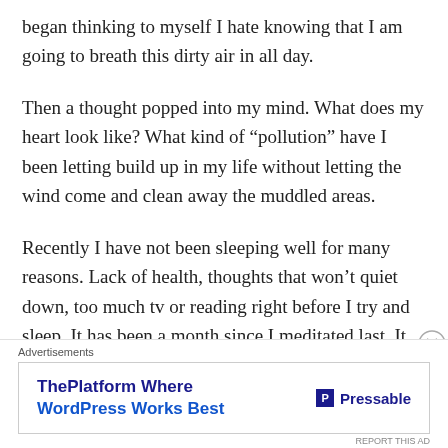began thinking to myself I hate knowing that I am going to breath this dirty air in all day.
Then a thought popped into my mind. What does my heart look like? What kind of “pollution” have I been letting build up in my life without letting the wind come and clean away the muddled areas.
Recently I have not been sleeping well for many reasons. Lack of health, thoughts that won’t quiet down, too much tv or reading right before I try and sleep. It has been a month since I meditated last. It has been a month since I last read something beneficial to my Spirit. It has
Advertisements
[Figure (other): Advertisement banner for Pressable - ThePlatform Where WordPress Works Best]